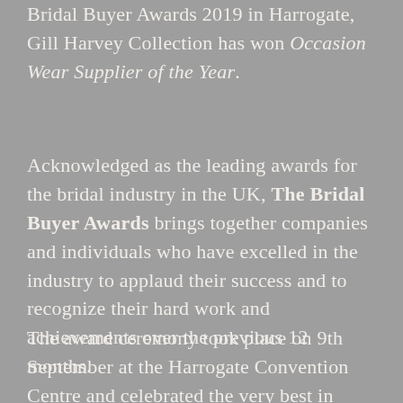Bridal Buyer Awards 2019 in Harrogate, Gill Harvey Collection has won Occasion Wear Supplier of the Year.
Acknowledged as the leading awards for the bridal industry in the UK, The Bridal Buyer Awards brings together companies and individuals who have excelled in the industry to applaud their success and to recognize their hard work and achievements over the previous 12 months.
The award ceremony took place on 9th September at the Harrogate Convention Centre and celebrated the very best in British Bridal. On the night, well over a hundred European companies in...